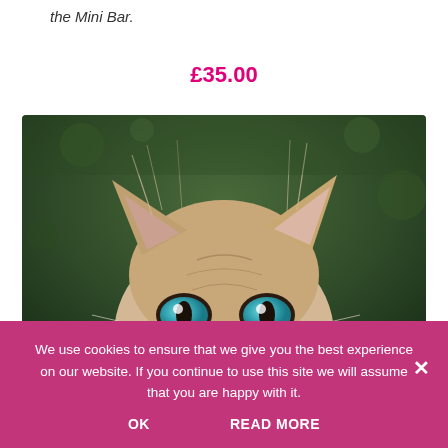the Mini Bar.
£35.00
[Figure (photo): A kitten peeking up with bright blue eyes against a blurred green background]
We use cookies to ensure that we give you the best experience on our website. If you continue to use this site we will assume that you are happy with it.
OK   READ MORE